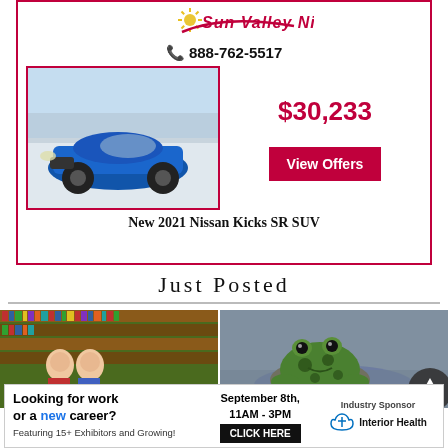[Figure (illustration): Sun Valley Nissan dealership advertisement. Contains sun logo, phone number 888-762-5517, photo of blue Nissan Kicks SR SUV, price $30,233, and View Offers button.]
New 2021 Nissan Kicks SR SUV
Just Posted
[Figure (photo): Two women standing in front of library bookshelves.]
[Figure (photo): Close-up of a frog near water.]
[Figure (illustration): Bottom banner advertisement: Looking for work or a new career? Featuring 15+ Exhibitors and Growing! September 8th, 11AM-3PM. CLICK HERE. Industry Sponsor: Interior Health.]